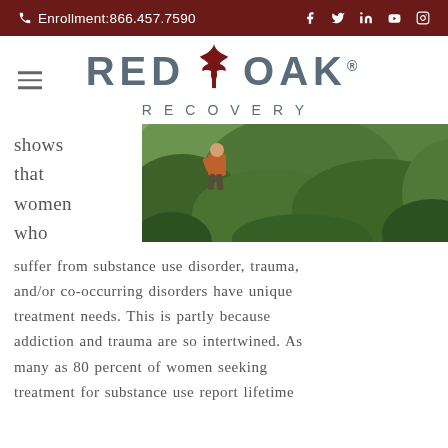Enrollment:866.457.7590
[Figure (logo): Red Oak Recovery logo with red maple leaf between 'RED' and 'OAK' text, with 'RECOVERY' below in spaced letters]
[Figure (photo): Person hiking on a mountain trail surrounded by lush green vegetation, viewed from behind]
shows that women who suffer from substance use disorder, trauma, and/or co-occurring disorders have unique treatment needs. This is partly because addiction and trauma are so intertwined. As many as 80 percent of women seeking treatment for substance use report lifetime